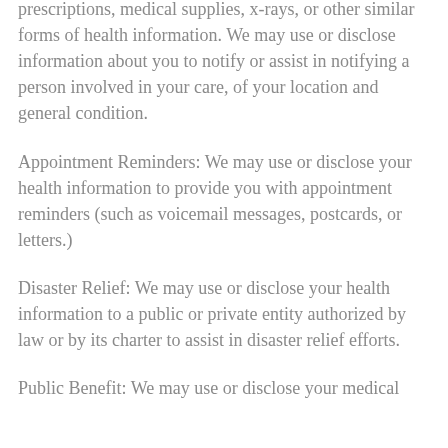interest in allowing a person to pick up filled prescriptions, medical supplies, x-rays, or other similar forms of health information. We may use or disclose information about you to notify or assist in notifying a person involved in your care, of your location and general condition.
Appointment Reminders: We may use or disclose your health information to provide you with appointment reminders (such as voicemail messages, postcards, or letters.)
Disaster Relief: We may use or disclose your health information to a public or private entity authorized by law or by its charter to assist in disaster relief efforts.
Public Benefit: We may use or disclose your medical